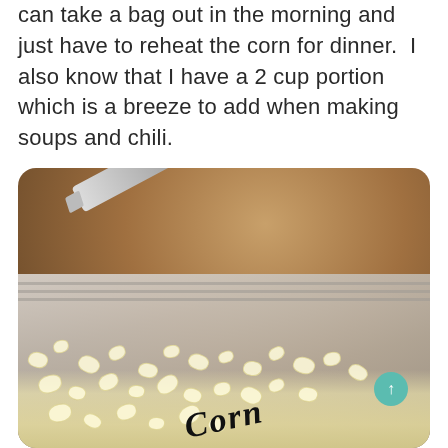can take a bag out in the morning and just have to reheat the corn for dinner.  I also know that I have a 2 cup portion which is a breeze to add when making soups and chili.
[Figure (photo): Close-up photo of a labeled freezer bag filled with frozen corn kernels, with a black marker pen resting on a wooden surface behind the bag. The bag has 'Corn' written on it in cursive script. A teal scroll-up button is visible in the lower right.]